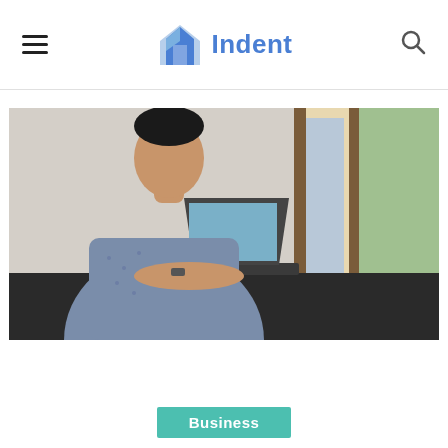Indent
[Figure (photo): A man in a blue patterned shirt sitting at a dark counter near a window, typing on a laptop with a white mug beside him.]
Business